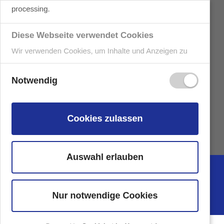processing.
Diese Webseite verwendet Cookies
Wir verwenden Cookies, um Inhalte und Anzeigen zu
Notwendig
Cookies zulassen
Auswahl erlauben
Nur notwendige Cookies
Powered by Cookiebot by Usercentrics
for the deletion request to be complied with immediately.